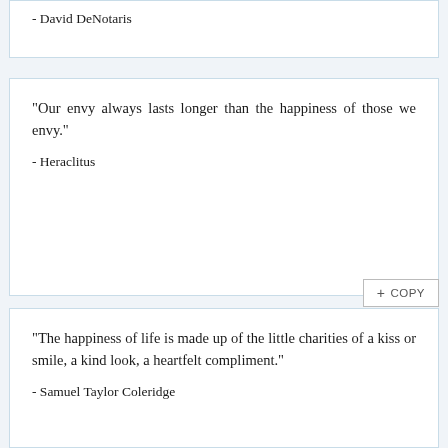- David DeNotaris
"Our envy always lasts longer than the happiness of those we envy."
- Heraclitus
"The happiness of life is made up of the little charities of a kiss or smile, a kind look, a heartfelt compliment."
- Samuel Taylor Coleridge